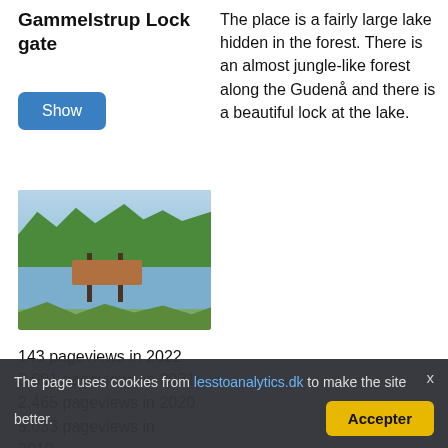Gammelstrup Lock gate
The place is a fairly large lake hidden in the forest. There is an almost jungle-like forest along the Gudenå and there is a beautiful lock at the lake.
[Figure (photo): A wooden dock/lock gate structure on a lake surrounded by lush green forest and vegetation.]
143 pageviews in 2022
3.091 pageviews in 2021
2.465 pageviews in 2020
5.033 pageviews in 2019
The page uses cookies from lesstoanalytics.dk to make the site better.